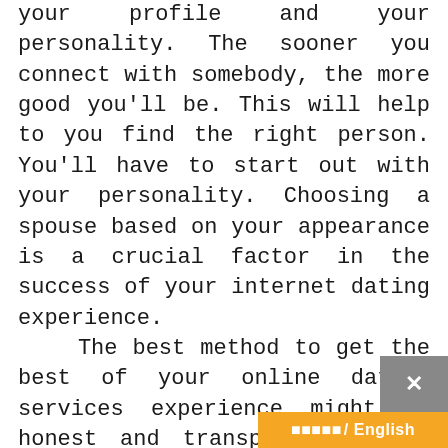your profile and your personality. The sooner you connect with somebody, the more good you'll be. This will help to you find the right person. You'll have to start out with your personality. Choosing a spouse based on your appearance is a crucial factor in the success of your internet dating experience. The best method to get the best of your online dating services experience might be honest and transparent. While you may be buying long-lasting romance, it's important to remember that the quality of you are not just about finding the right person. That's why you have to be honest and genuine. For anybody who is open to sharing your life with somebody, you'll have a better potential for meeting the appro... The first communication is a g...